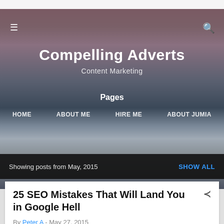[Figure (screenshot): Website header hero image with mountain/landscape in blue-purple tones at dusk, with hamburger menu icon on left and search icon on right]
Compelling Adverts
Content Marketing
Pages
HOME   ABOUT ME   HIRE ME   ABOUT JUMIA
Showing posts from May, 2015   SHOW ALL
25 SEO Mistakes That Will Land You in Google Hell
By Peter A - May 27, 2015